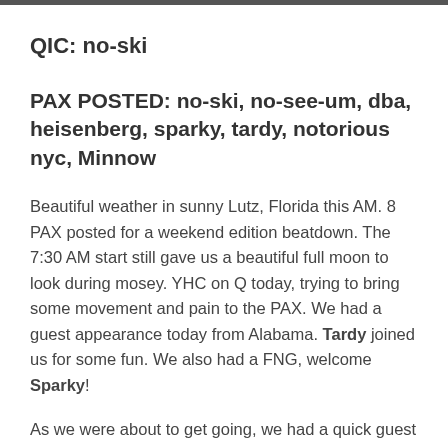QIC: no-ski
PAX POSTED: no-ski, no-see-um, dba, heisenberg, sparky, tardy, notorious nyc, Minnow
Beautiful weather in sunny Lutz, Florida this AM. 8 PAX posted for a weekend edition beatdown. The 7:30 AM start still gave us a beautiful full moon to look during mosey. YHC on Q today, trying to bring some movement and pain to the PAX. We had a guest appearance today from Alabama. Tardy joined us for some fun. We also had a FNG, welcome Sparky!
As we were about to get going, we had a quick guest appearance from one of the fartsackers. @red-